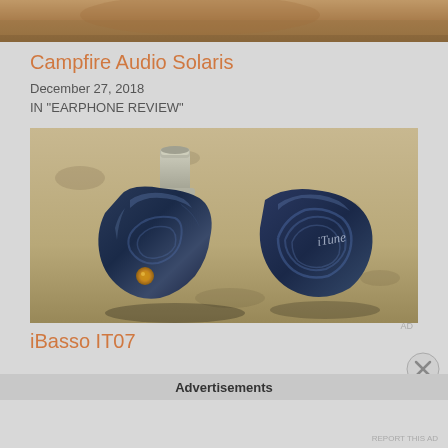[Figure (photo): Partial top photo showing a warm-toned background, cropped at the top of the page]
Campfire Audio Solaris
December 27, 2018
IN "EARPHONE REVIEW"
[Figure (photo): Photo of two dark blue iBasso IT07 in-ear monitors on a granite countertop. Left unit shows the nozzle and earphone body with orange accent, right unit shows the back with cursive branding logo. Both have a dark swirling blue shell finish.]
AD
iBasso IT07
Advertisements